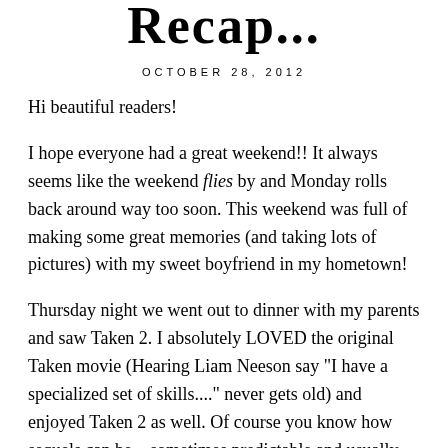Recap...
OCTOBER 28, 2012
Hi beautiful readers!
I hope everyone had a great weekend!! It always seems like the weekend flies by and Monday rolls back around way too soon. This weekend was full of making some great memories (and taking lots of pictures) with my sweet boyfriend in my hometown!
Thursday night we went out to dinner with my parents and saw Taken 2. I absolutely LOVED the original Taken movie (Hearing Liam Neeson say "I have a specialized set of skills...." never gets old) and enjoyed Taken 2 as well. Of course you know how sequels can be....sometimes predictable and usually NEVER as good as the first. Anyway enough about movies and on to the FASHION!!! I decided to